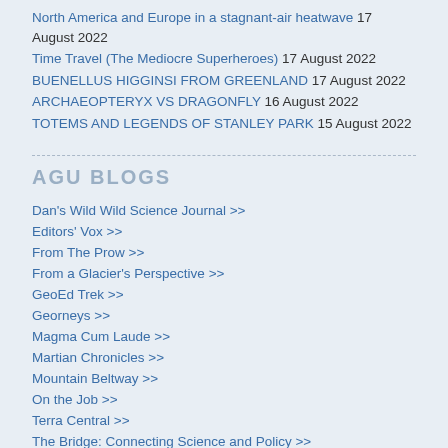North America and Europe in a stagnant-air heatwave 17 August 2022
Time Travel (The Mediocre Superheroes) 17 August 2022
BUENELLUS HIGGINSI FROM GREENLAND 17 August 2022
ARCHAEOPTERYX VS DRAGONFLY 16 August 2022
TOTEMS AND LEGENDS OF STANLEY PARK 15 August 2022
AGU BLOGS
Dan's Wild Wild Science Journal >>
Editors' Vox >>
From The Prow >>
From a Glacier's Perspective >>
GeoEd Trek >>
Georneys >>
Magma Cum Laude >>
Martian Chronicles >>
Mountain Beltway >>
On the Job >>
Terra Central >>
The Bridge: Connecting Science and Policy >>
The Field >>
The Landslide Blog >>